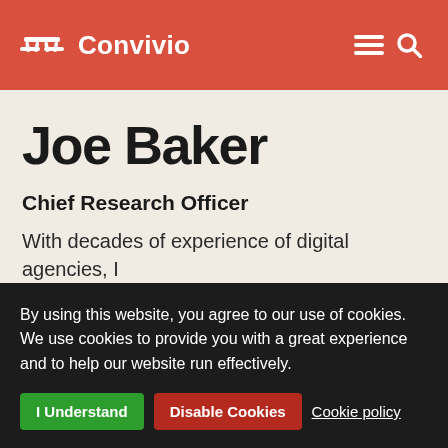Convivio
Joe Baker
Chief Research Officer
With decades of experience of digital agencies, I bring research skills from 10 years in academic…
By using this website, you agree to our use of cookies. We use cookies to provide you with a great experience and to help our website run effectively.